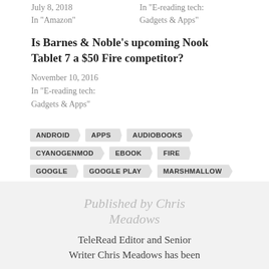July 8, 2018
In "Amazon"
In "E-reading tech: Gadgets & Apps"
Is Barnes & Noble's upcoming Nook Tablet 7 a $50 Fire competitor?
November 10, 2016
In "E-reading tech: Gadgets & Apps"
ANDROID
APPS
AUDIOBOOKS
CYANOGENMOD
EBOOK
FIRE
GOOGLE
GOOGLE PLAY
MARSHMALLOW
NOOK
NOOK HD
TABLET
Published by Chris Meadows
TeleRead Editor and Senior Writer Chris Meadows has been